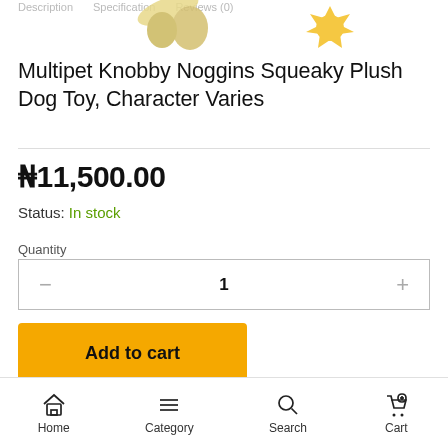Description   Specification   Reviews (0)
[Figure (photo): Partial view of two Multipet Knobby Noggins squeaky plush dog toys — one mostly cropped on the left, one yellow star-shaped on the right]
Multipet Knobby Noggins Squeaky Plush Dog Toy, Character Varies
₦11,500.00
Status: In stock
Quantity
1
Add to cart
Home   Category   Search   Cart